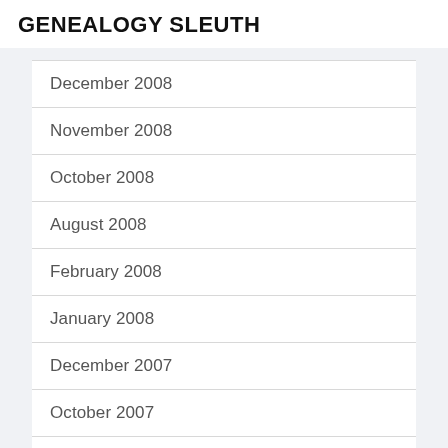GENEALOGY SLEUTH
December 2008
November 2008
October 2008
August 2008
February 2008
January 2008
December 2007
October 2007
July 2007
May 2007